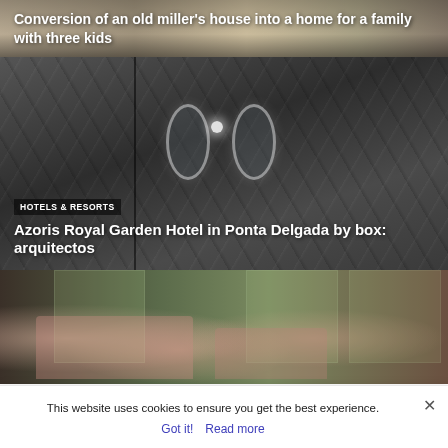[Figure (photo): Interior photo of a converted miller's house with kitchen and dining area, warm tones]
Conversion of an old miller's house into a home for a family with three kids
[Figure (photo): Luxury hotel bathroom with dark marble walls and two oval mirrors]
HOTELS & RESORTS
Azoris Royal Garden Hotel in Ponta Delgada by box: arquitectos
[Figure (photo): Restaurant interior with pink chairs/candles, wood ceiling and large windows with garden view]
This website uses cookies to ensure you get the best experience.
Got it!  Read more